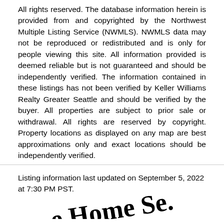All rights reserved. The database information herein is provided from and copyrighted by the Northwest Multiple Listing Service (NWMLS). NWMLS data may not be reproduced or redistributed and is only for people viewing this site. All information provided is deemed reliable but is not guaranteed and should be independently verified. The information contained in these listings has not been verified by Keller Williams Realty Greater Seattle and should be verified by the buyer. All properties are subject to prior sale or withdrawal. All rights are reserved by copyright. Property locations as displayed on any map are best approximations only and exact locations should be independently verified.
Listing information last updated on September 5, 2022 at 7:30 PM PST.
[Figure (logo): Partial logo text reading 'e Home Se.' visible at bottom of page, appears to be a company logo]